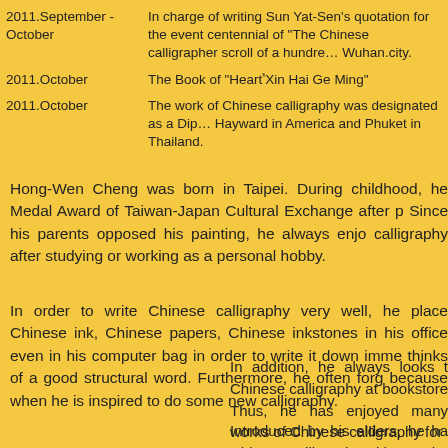| 2011.September - October | In charge of writing Sun Yat-Sen's quotation for the event centennial of “The Chinese calligrapher scroll of a hundre... Wuhan.city. |
| 2011.October | The Book of “HeartʼXin Hai Ge Ming” |
| 2011.October | The work of Chinese calligraphy was designated as a Dip... Hayward in America and Phuket in Thailand. |
Hong-Wen Cheng was born in Taipei. During childhood, he... Medal Award of Taiwan-Japan Cultural Exchange after p... Since his parents opposed his painting, he always enjo... calligraphy after studying or working as a personal hobby.
In order to write Chinese calligraphy very well, he place... Chinese ink, Chinese papers, Chinese inkstones in his office... even in his computer bag in order to write it down imme... thinks of a good structural word. Furthermore, he often forg... because when he is inspired to do some new calligraphy.
In addition, he always looks t... Chinese calligraphy at bookstore... Thus, he has enjoyed many ... works of Chinese calligraphy for...
Introduced by his elders, he ha... Chinese calligraphy with Mr. Ch...